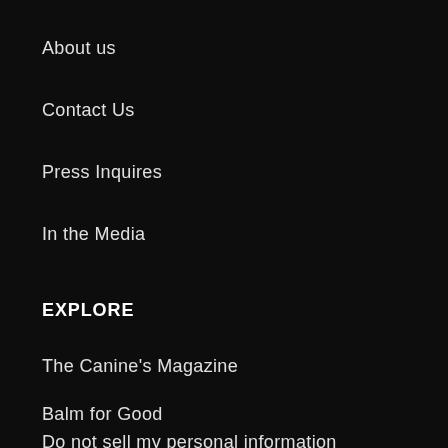About us
Contact Us
Press Inquires
In the Media
EXPLORE
The Canine's Magazine
Balm for Good
Do not sell my personal information